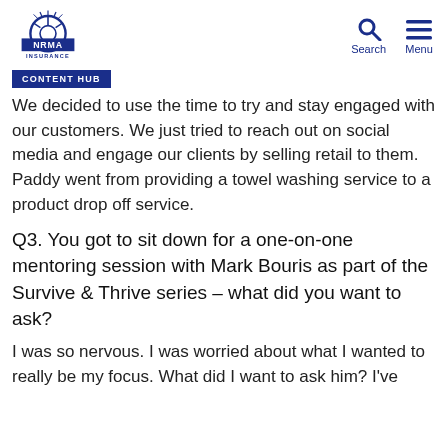NRMA Insurance — Search | Menu
CONTENT HUB
We decided to use the time to try and stay engaged with our customers. We just tried to reach out on social media and engage our clients by selling retail to them. Paddy went from providing a towel washing service to a product drop off service.
Q3. You got to sit down for a one-on-one mentoring session with Mark Bouris as part of the Survive & Thrive series – what did you want to ask?
I was so nervous. I was worried about what I wanted to really be my focus. What did I want to ask him? I've